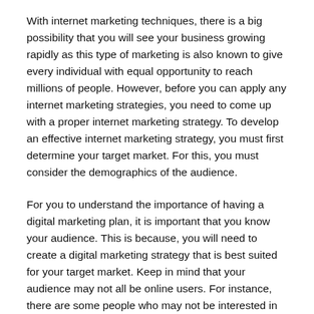With internet marketing techniques, there is a big possibility that you will see your business growing rapidly as this type of marketing is also known to give every individual with equal opportunity to reach millions of people. However, before you can apply any internet marketing strategies, you need to come up with a proper internet marketing strategy. To develop an effective internet marketing strategy, you must first determine your target market. For this, you must consider the demographics of the audience.
For you to understand the importance of having a digital marketing plan, it is important that you know your audience. This is because, you will need to create a digital marketing strategy that is best suited for your target market. Keep in mind that your audience may not all be online users. For instance, there are some people who may not be interested in online activities. Thus, before you start